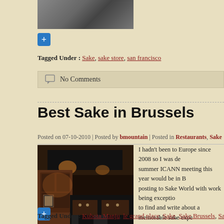[Figure (photo): Top partial photo of a car in a parking area/showroom, cropped at the top]
Tagged Under : Sake, sake store, san francisco
No Comments
Best Sake in Brussels
Posted on 07-10-2010 | Posted by bmountain | Posted in Restaurants, Sake
[Figure (photo): Interior of a Japanese restaurant with dark wood furniture, ceiling lights, framed artwork on wall, set dinner tables]
I hadn't been to Europe since 2008 so I was de summer ICANN meeting this year would be in B posting to Sake World with work being exceptio to find and write about a memorable sake expe
Tagged Under : Kubota Manju, le grand place, Sake, Sake Brussels, Samo